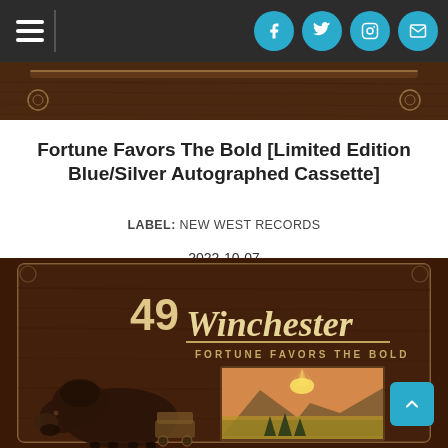Navigation bar with hamburger menu and social icons (Facebook, Twitter, Instagram, Email)
[Figure (illustration): Top portion of album art showing decorative brown wooden frame with ornamental details]
Fortune Favors The Bold [Limited Edition Blue/Silver Autographed Cassette]
LABEL: NEW WEST RECORDS
2022-10-07
Cassette: $14.98 + PREORDER
[Figure (illustration): Album artwork for 49 Winchester - Fortune Favors The Bold. Shows text '49 Winchester FORTUNE FAVORS THE BOLD' over a brown decorative wooden stage/frame, with a bison/buffalo in the foreground and a mountain/prairie landscape scene in the background with pine trees and sunset rays.]